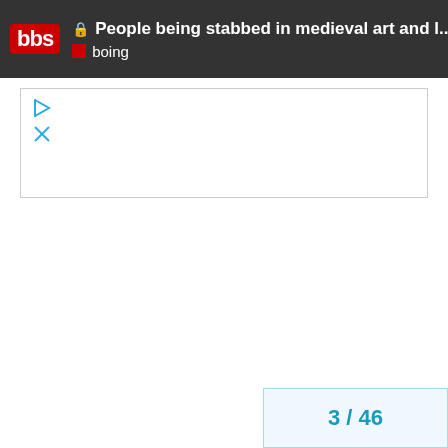People being stabbed in medieval art and l... | boing
[Figure (screenshot): Advertisement placeholder area with play triangle icon and close X icon in blue/cyan color]
3 / 46